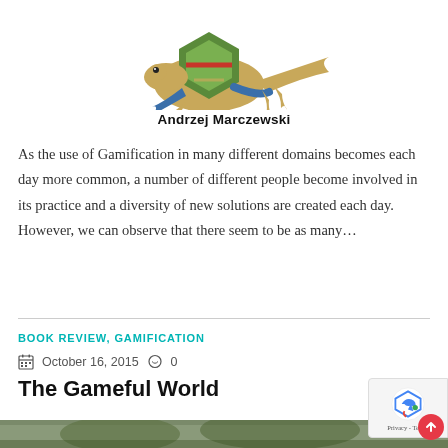[Figure (illustration): Cartoon lizard/gecko character with a green hexagonal shell on its back, blue arms, tan legs and tail, illustrated mascot for gamification blog]
Andrzej Marczewski
As the use of Gamification in many different domains becomes each day more common, a number of different people become involved in its practice and a diversity of new solutions are created each day. However, we can observe that there seem to be as many…
BOOK REVIEW, GAMIFICATION
October 16, 2015   0
The Gameful World
[Figure (photo): Partial photo visible at bottom of page, cropped]